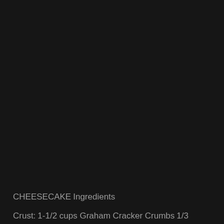CHEESECAKE
Ingredients
Crust:
1-1/2 cups Graham Cracker Crumbs
1/3